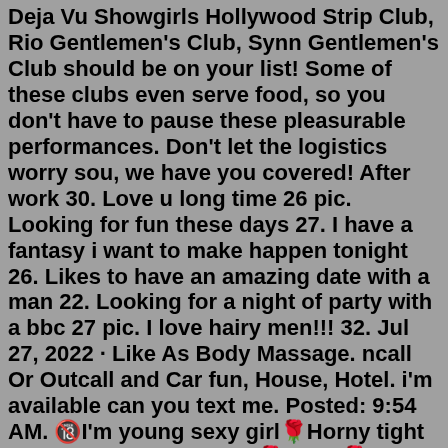Deja Vu Showgirls Hollywood Strip Club, Rio Gentlemen's Club, Synn Gentlemen's Club should be on your list! Some of these clubs even serve food, so you don't have to pause these pleasurable performances. Don't let the logistics worry sou, we have you covered! After work 30. Love u long time 26 pic. Looking for fun these days 27. I have a fantasy i want to make happen tonight 26. Likes to have an amazing date with a man 22. Looking for a night of party with a bbc 27 pic. I love hairy men!!! 32. Jul 27, 2022 · Like As Body Massage. ncall Or Outcall and Car fun, House, Hotel. i'm available can you text me. Posted: 9:54 AM. 🔞I'm young sexy girl🌹Horny tight pussy ready for hookup🌹Incall🌹Outcall🌹Cardate🌹Available 24/7🔞. 24. 🌹IN CALL OR OUTCALL🔞🌹CARFUN🌹 available now you. I will provide my best service for everyone. Full of service. Fun ! 🌹 shower Sex With many positions DoggyStyle Fuck & full Night. Enjoy Oral anal 69 position Special BBJ passionate Kissing Penis. Massage penis suck Long Time travel speciallyFuck your own style Any Place🌹